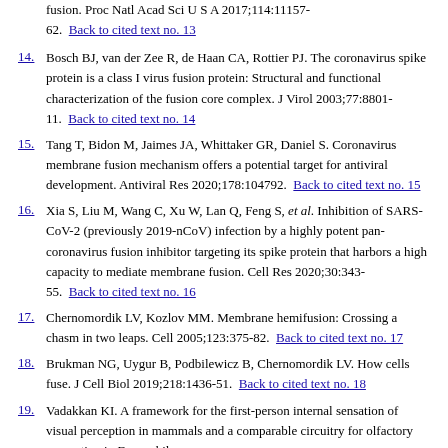fusion. Proc Natl Acad Sci U S A 2017;114:11157-62.  Back to cited text no. 13
14. Bosch BJ, van der Zee R, de Haan CA, Rottier PJ. The coronavirus spike protein is a class I virus fusion protein: Structural and functional characterization of the fusion core complex. J Virol 2003;77:8801-11.  Back to cited text no. 14
15. Tang T, Bidon M, Jaimes JA, Whittaker GR, Daniel S. Coronavirus membrane fusion mechanism offers a potential target for antiviral development. Antiviral Res 2020;178:104792.  Back to cited text no. 15
16. Xia S, Liu M, Wang C, Xu W, Lan Q, Feng S, et al. Inhibition of SARS-CoV-2 (previously 2019-nCoV) infection by a highly potent pan-coronavirus fusion inhibitor targeting its spike protein that harbors a high capacity to mediate membrane fusion. Cell Res 2020;30:343-55.  Back to cited text no. 16
17. Chernomordik LV, Kozlov MM. Membrane hemifusion: Crossing a chasm in two leaps. Cell 2005;123:375-82.  Back to cited text no. 17
18. Brukman NG, Uygur B, Podbilewicz B, Chernomordik LV. How cells fuse. J Cell Biol 2019;218:1436-51.  Back to cited text no. 18
19. Vadakkan KI. A framework for the first-person internal sensation of visual perception in mammals and a comparable circuitry for olfactory perception in Drosophila.